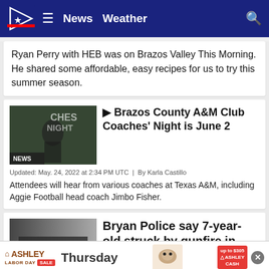News  Weather
Ryan Perry with HEB was on Brazos Valley This Morning. He shared some affordable, easy recipes for us to try this summer season.
[Figure (screenshot): News thumbnail showing A&M Club Coaches Night with NEWS badge]
▶ Brazos County A&M Club Coaches' Night is June 2
Updated: May. 24, 2022 at 2:34 PM UTC  |  By Karla Castillo
Attendees will hear from various coaches at Texas A&M, including Aggie Football head coach Jimbo Fisher.
[Figure (screenshot): Breaking news thumbnail with dark gradient and BREAKING... badge]
Bryan Police say 7-year-old struck by gunfire in
Updated: May. 20, 2022 at 4:54 AM UTC  |  By Ka...  ...castillo
Ashley Labor Day Sale advertisement banner - Thursday - up to $305 Ashley Cash